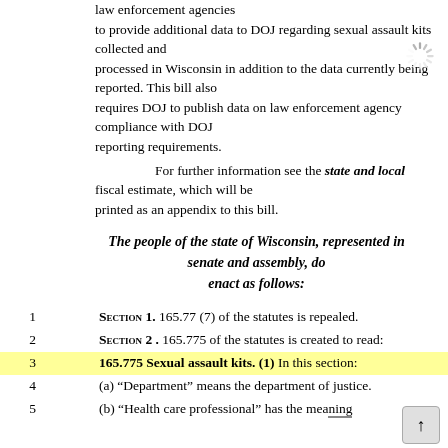law enforcement agencies to provide additional data to DOJ regarding sexual assault kits collected and processed in Wisconsin in addition to the data currently being reported. This bill also requires DOJ to publish data on law enforcement agency compliance with DOJ reporting requirements.
For further information see the state and local fiscal estimate, which will be printed as an appendix to this bill.
The people of the state of Wisconsin, represented in senate and assembly, do enact as follows:
1  SECTION 1. 165.77 (7) of the statutes is repealed.
2  SECTION 2 . 165.775 of the statutes is created to read:
3  165.775 Sexual assault kits. (1) In this section:
4  (a) “Department” means the department of justice.
5  (b) “Health care professional” has the meaning